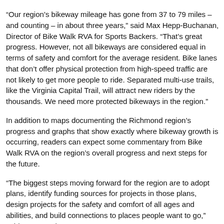“Our region’s bikeway mileage has gone from 37 to 79 miles – and counting – in about three years,” said Max Hepp-Buchanan, Director of Bike Walk RVA for Sports Backers. “That’s great progress. However, not all bikeways are considered equal in terms of safety and comfort for the average resident. Bike lanes that don’t offer physical protection from high-speed traffic are not likely to get more people to ride. Separated multi-use trails, like the Virginia Capital Trail, will attract new riders by the thousands. We need more protected bikeways in the region.”
In addition to maps documenting the Richmond region’s progress and graphs that show exactly where bikeway growth is occurring, readers can expect some commentary from Bike Walk RVA on the region’s overall progress and next steps for the future.
“The biggest steps moving forward for the region are to adopt plans, identify funding sources for projects in those plans, design projects for the safety and comfort of all ages and abilities, and build connections to places people want to go,” said Hepp-Buchanan.
The 2016 Richmond Region Bicycle Infrastructure Report follows the published brochure, RVA Bikeways: A user guide for people on bikes